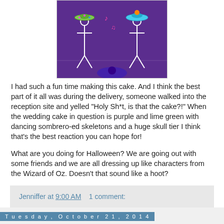[Figure (photo): Photo of a purple cake with sombrero-wearing skeleton decorations and colorful details]
I had such a fun time making this cake.  And I think the best part of it all was during the delivery, someone walked into the reception site and yelled "Holy Sh*t, is that the cake?!"  When the wedding cake in question is purple and lime green with dancing sombrero-ed skeletons and a huge skull tier I think that's the best reaction you can hope for!
What are you doing for Halloween?  We are going out with some friends and we are all dressing up like characters from the Wizard of Oz.  Doesn't that sound like a hoot?
Jenniffer at 9:00 AM    1 comment:
Tuesday, October 21, 2014
Wedding Cake with a Twist...that I don't like!